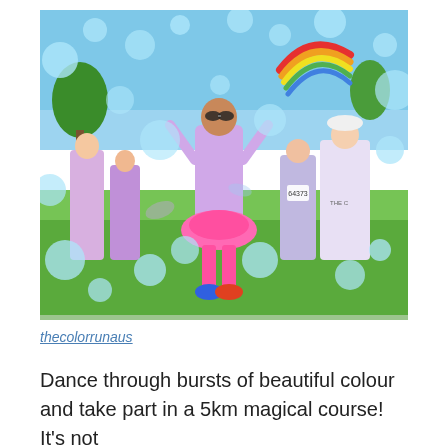[Figure (photo): Outdoor color run event with participants dancing and celebrating. A woman in a pink tutu and colorful outfit is centered with arms raised. Participants are covered in colorful powder/foam. Blue foam bubbles fill the air. A rainbow inflatable arch is visible in the background. Sunny day with green grass and trees.]
thecolorrunaus
Dance through bursts of beautiful colour and take part in a 5km magical course! It’s not